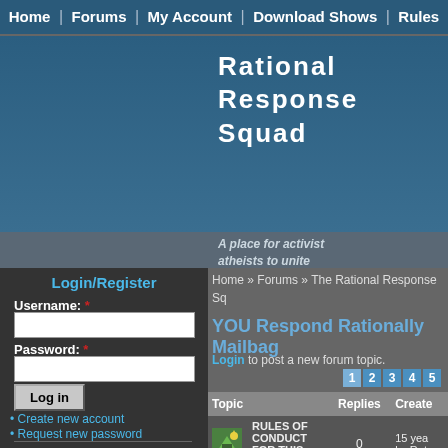Home | Forums | My Account | Download Shows | Rules
Rational Response Squad
A place for activist atheists to unite
Login/Register
Username: *
Password: *
Log in
Create new account
Request new password
Navigation
Forums
Create Content
Recent Posts
Home » Forums » The Rational Response Sq
YOU Respond Rationally Mailbag
Login to post a new forum topic.
| Topic | Replies | Created |
| --- | --- | --- |
| RULES OF CONDUCT FOR THIS FORUM | 0 | 15 yea... by Rat... |
1 2 3 4 5